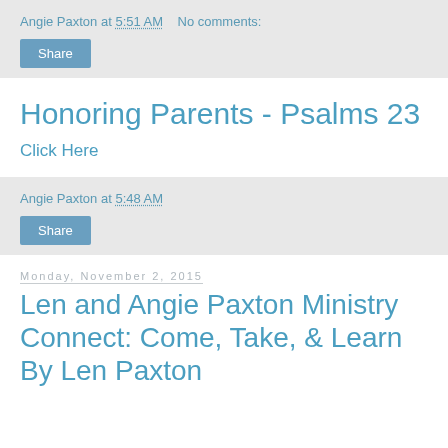Angie Paxton at 5:51 AM   No comments:
Share
Honoring Parents - Psalms 23
Click Here
Angie Paxton at 5:48 AM
Share
Monday, November 2, 2015
Len and Angie Paxton Ministry Connect: Come, Take, & Learn By Len Paxton